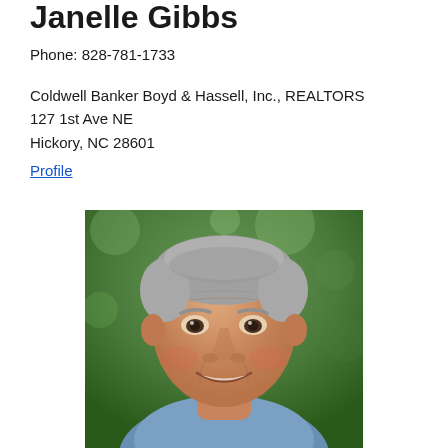Janelle Gibbs
Phone: 828-781-1733
Coldwell Banker Boyd & Hassell, Inc., REALTORS
127 1st Ave NE
Hickory, NC 28601
Profile
[Figure (photo): Professional headshot of a middle-aged man with gray hair, smiling, wearing a light blue shirt, with a blurred green outdoor background.]